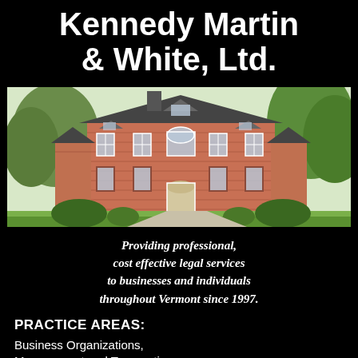Kennedy Martin & White, Ltd.
[Figure (illustration): Watercolor illustration of a red brick colonial-style building with white trim, surrounded by green trees and landscaping.]
Providing professional, cost effective legal services to businesses and individuals throughout Vermont since 1997.
PRACTICE AREAS:
Business Organizations, Management and Transactions